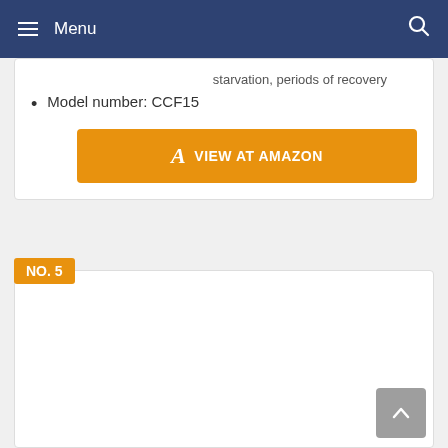Menu
starvation, periods of recovery
Model number: CCF15
VIEW AT AMAZON
NO. 5